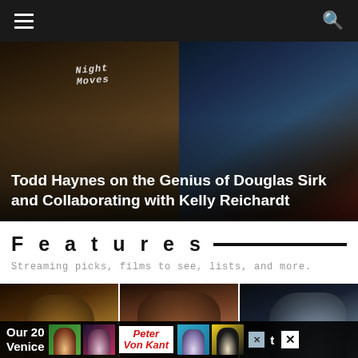Navigation bar with menu and search icons
[Figure (photo): Hero image showing two film stills side by side: left shows a person wearing a 'Night Moves' cap, right shows a festive/colorful background with figures. White text overlay reads 'Todd Haynes on the Genius of Douglas Sirk and Collaborating with Kelly Reichardt']
Todd Haynes on the Genius of Douglas Sirk and Collaborating with Kelly Reichardt
Features
Streaming picks, films to see, lists, and more.
[Figure (photo): Three film still panels side by side: left shows a bearded man in warm light, center shows a Black woman in a brown top looking at camera, right shows a young man in profile with cool/blue tones]
Our 20... Venice...
Advertisement bar: Peter Von Kant - with colored thumbnail portraits and close buttons